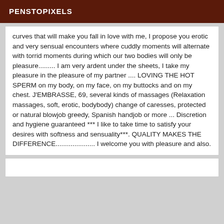PENSTOPIXELS
curves that will make you fall in love with me, I propose you erotic and very sensual encounters where cuddly moments will alternate with torrid moments during which our two bodies will only be pleasure......... I am very ardent under the sheets, I take my pleasure in the pleasure of my partner .... LOVING THE HOT SPERM on my body, on my face, on my buttocks and on my chest. J'EMBRASSE, 69, several kinds of massages (Relaxation massages, soft, erotic, bodybody) change of caresses, protected or natural blowjob greedy, Spanish handjob or more ... Discretion and hygiene guaranteed *** I like to take time to satisfy your desires with softness and sensuality***. QUALITY MAKES THE DIFFERENCE..................... I welcome you with pleasure and also.